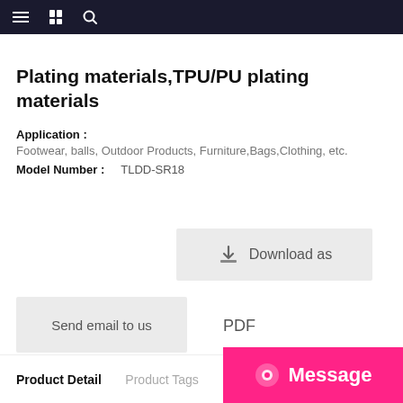Navigation bar with menu, catalog, and search icons
Plating materials,TPU/PU plating materials
Application :
Footwear, balls, Outdoor Products, Furniture,Bags,Clothing, etc.
Model Number :   TLDD-SR18
[Figure (screenshot): Download as button with download icon]
[Figure (screenshot): Send email to us button]
PDF
Product Detail   Product Tags
[Figure (screenshot): Pink Message button with chat icon]